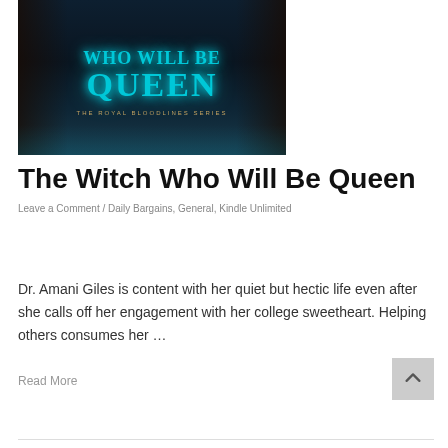[Figure (illustration): Book cover for 'The Witch Who Will Be Queen' from The Royal Bloodlines Series. Dark background with ornate teal/cyan stylized title text, decorated hands visible on sides, mystical blue mist at bottom.]
The Witch Who Will Be Queen
Leave a Comment / Daily Bargains, General, Kindle Unlimited
Dr. Amani Giles is content with her quiet but hectic life even after she calls off her engagement with her college sweetheart. Helping others consumes her …
Read More